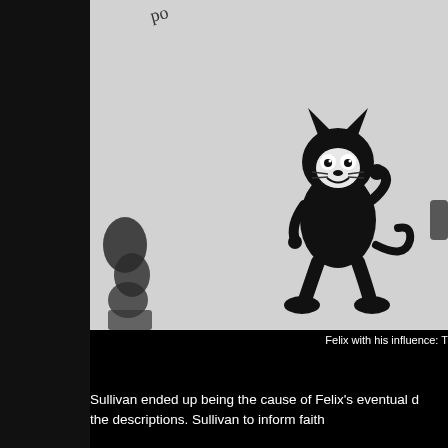[Figure (photo): Black and white photograph showing Felix the Cat cartoon character standing upright with a cheerful expression, white eyes and smile, black body with a tail, on a light grey background. Left edge shows partial dark figures.]
Felix with his influence: T
Sullivan ended up being the cause of Felix's eventual d... the descriptions. Sullivan... to inform faith...